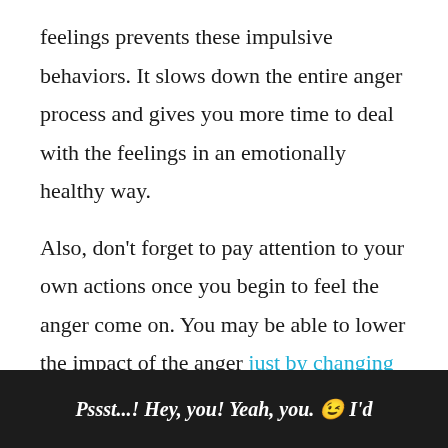feelings prevents these impulsive behaviors. It slows down the entire anger process and gives you more time to deal with the feelings in an emotionally healthy way.
Also, don't forget to pay attention to your own actions once you begin to feel the anger come on. You may be able to lower the impact of the anger just by changing some habits.
Pssst...! Hey, you! Yeah, you. 😊 I'd